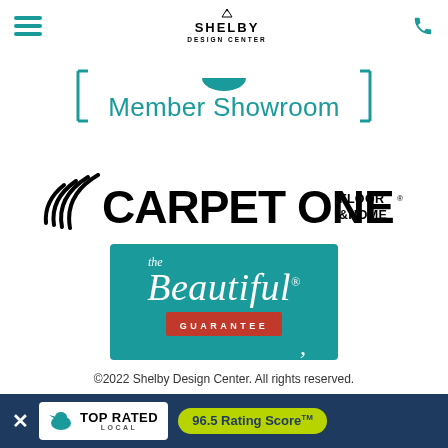Shelby Design Center — menu, logo, phone
Member Showroom
[Figure (logo): Carpet One Floor & Home logo with swoosh icon]
[Figure (logo): The Beautiful Guarantee badge on teal background with red guarantee bar]
©2022 Shelby Design Center. All rights reserved.
[Figure (other): Top Rated Local banner with 96.5 Rating Score TM]